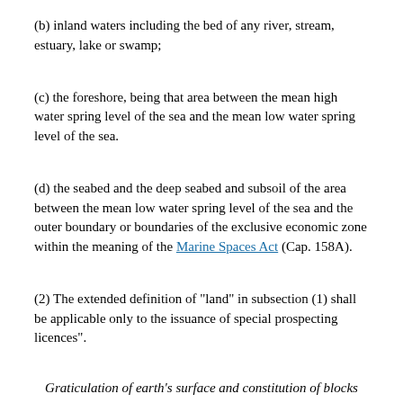(b) inland waters including the bed of any river, stream, estuary, lake or swamp;
(c) the foreshore, being that area between the mean high water spring level of the sea and the mean low water spring level of the sea.
(d) the seabed and the deep seabed and subsoil of the area between the mean low water spring level of the sea and the outer boundary or boundaries of the exclusive economic zone within the meaning of the Marine Spaces Act (Cap. 158A).
(2) The extended definition of "land" in subsection (1) shall be applicable only to the issuance of special prospecting licences".
Graticulation of earth's surface and constitution of blocks
3. - (1) For the purpose of special prospecting licences sought